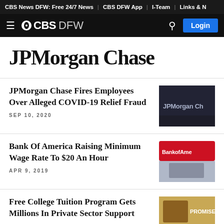CBS News DFW: Free 24/7 News | CBS DFW App | I-Team | Links & N
CBS DFW — Login
JPMorgan Chase
JPMorgan Chase Fires Employees Over Alleged COVID-19 Relief Fraud
SEP 10, 2020
[Figure (photo): JPMorgan Chase sign on building exterior]
Bank Of America Raising Minimum Wage Rate To $20 An Hour
APR 9, 2019
[Figure (photo): Bank of America red sign on exterior]
Free College Tuition Program Gets Millions In Private Sector Support
[Figure (photo): Promise program sign or logo]